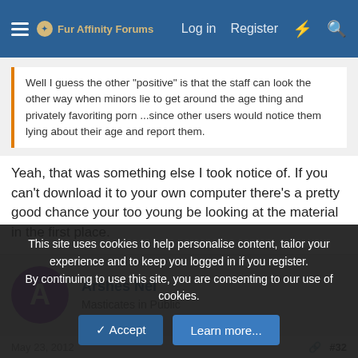Fur Affinity Forums | Log in | Register
Well I guess the other "positive" is that the staff can look the other way when minors lie to get around the age thing and privately favoriting porn ...since other users would notice them lying about their age and report them.
Yeah, that was something else I took notice of. If you can't download it to your own computer there's a pretty good chance your too young be looking at the material in the first place.
Arshes Nei
Masticates in Public
May 23, 2012  #32
This site uses cookies to help personalise content, tailor your experience and to keep you logged in if you register.
By continuing to use this site, you are consenting to our use of cookies.